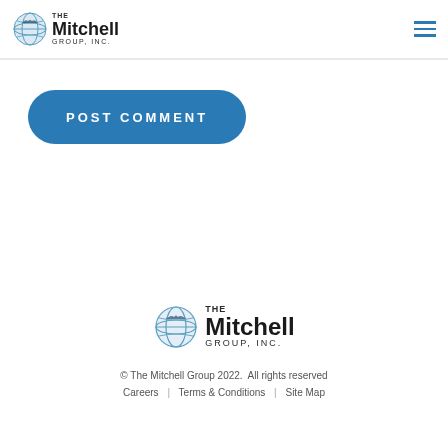The Mitchell Group, Inc.
POST COMMENT
[Figure (logo): The Mitchell Group, Inc. logo with globe icon in footer]
© The Mitchell Group 2022. All rights reserved
Careers | Terms & Conditions | Site Map